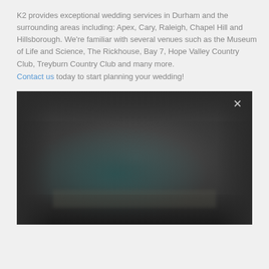K2 provides exceptional wedding services in Durham and the surrounding areas including: Apex, Cary, Raleigh, Chapel Hill and Hillsborough. We're familiar with several venues such as the Museum of Life and Science, The Rickhouse, Bay 7, Hope Valley Country Club, Treyburn Country Club and many more.
Contact us today to start planning your wedding!
[Figure (photo): A dark, blurry photograph appearing to show a wedding scene or couple in very low light, with a dark teal/green circular bokeh shape in the center. An X close button is visible in the upper right corner of the image.]